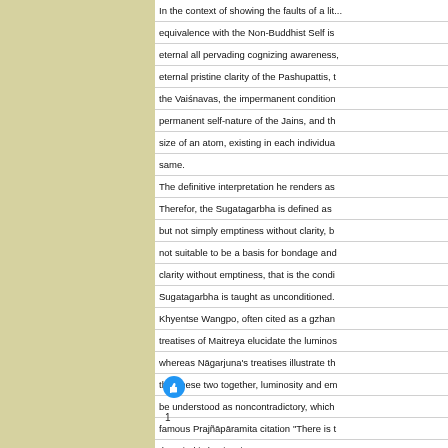In the context of showing the faults of a lit... equivalence with the Non-Buddhist Self is eternal all pervading cognizing awareness, eternal pristine clarity of the Pashupattis, the Vaiśnavas, the impermanent condition permanent self-nature of the Jains, and the size of an atom, existing in each individual same. The definitive interpretation he renders as: Therefor, the Sugatagarbha is defined as but not simply emptiness without clarity, b not suitable to be a basis for bondage and clarity without emptiness, that is the condi Sugatagarbha is taught as unconditioned. Khyentse Wangpo, often cited as a gzhan treatises of Maitreya elucidate the luminos whereas Nāgarjuna's treatises illustrate th that these two together, luminosity and em be understood as noncontradictory, which famous Prajñāpāramita citation "There is the mind is luminosity".
[Figure (other): Thumbs up / like button icon (blue circle with white thumbs up)]
1